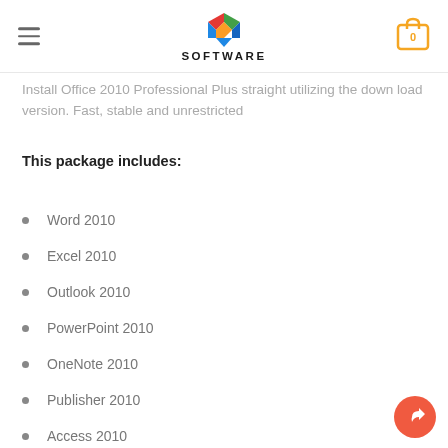SOFTWARE
Install Office 2010 Professional Plus straight utilizing the down load version. Fast, stable and unrestricted
This package includes:
Word 2010
Excel 2010
Outlook 2010
PowerPoint 2010
OneNote 2010
Publisher 2010
Access 2010